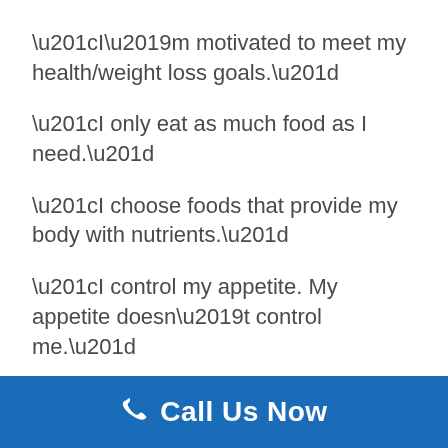“I’m motivated to meet my health/weight loss goals.”
“I only eat as much food as I need.”
“I choose foods that provide my body with nutrients.”
“I control my appetite. My appetite doesn’t control me.”
“I eat vibrant foods that make me look and feel better.”
Call Us Now